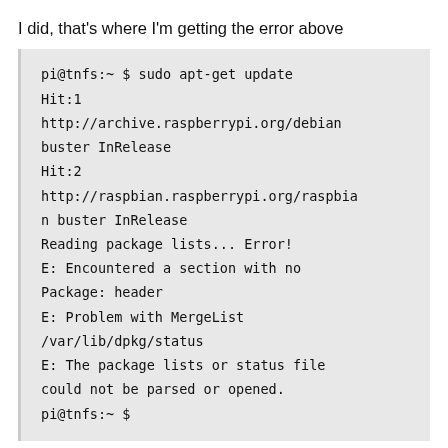I did, that's where I'm getting the error above
pi@tnfs:~ $ sudo apt-get update
Hit:1
http://archive.raspberrypi.org/debian buster InRelease
Hit:2
http://raspbian.raspberrypi.org/raspbian buster InRelease
Reading package lists... Error!
E: Encountered a section with no Package: header
E: Problem with MergeList /var/lib/dpkg/status
E: The package lists or status file could not be parsed or opened.
pi@tnfs:~ $